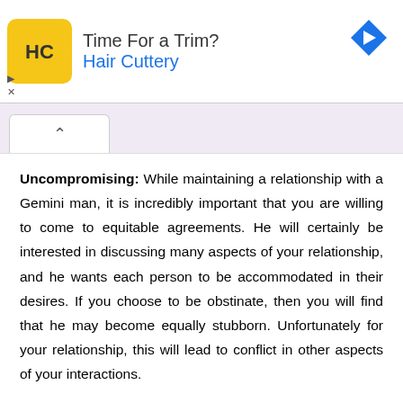[Figure (screenshot): Advertisement banner for Hair Cuttery with yellow HC logo, text 'Time For a Trim? Hair Cuttery', blue arrow icon, and ad controls (play/close icons)]
Uncompromising: While maintaining a relationship with a Gemini man, it is incredibly important that you are willing to come to equitable agreements. He will certainly be interested in discussing many aspects of your relationship, and he wants each person to be accommodated in their desires. If you choose to be obstinate, then you will find that he may become equally stubborn. Unfortunately for your relationship, this will lead to conflict in other aspects of your interactions.